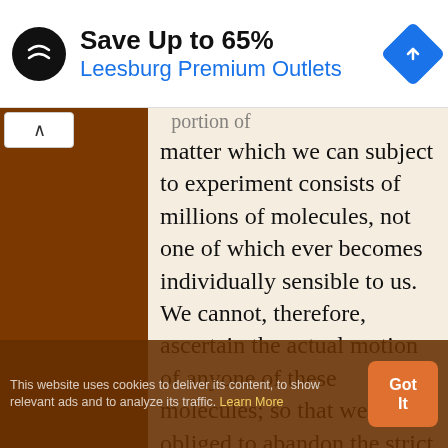[Figure (screenshot): Advertisement banner for Leesburg Premium Outlets showing a logo, 'Save Up to 65%' text, and a blue direction arrow icon]
matter which we can subject to experiment consists of millions of molecules, not one of which ever becomes individually sensible to us. We cannot, therefore, ascertain the actual motion of anyone of these molecules; so that we are obliged to abandon the strict historical method, and to adopt the statistical method of dealing with
This website uses cookies to deliver its content, to show relevant ads and to analyze its traffic. Learn More
Got It